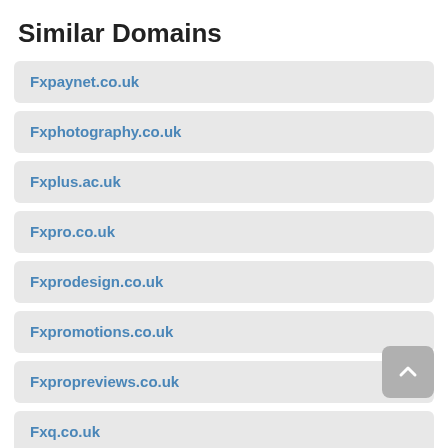Similar Domains
Fxpaynet.co.uk
Fxphotography.co.uk
Fxplus.ac.uk
Fxpro.co.uk
Fxprodesign.co.uk
Fxpromotions.co.uk
Fxpropreviews.co.uk
Fxq.co.uk
Fxr.co.uk
Fxs...